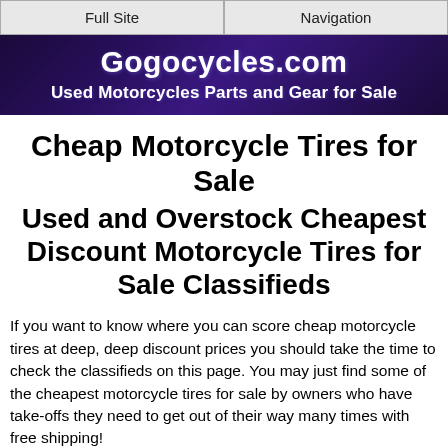Full Site | Navigation
[Figure (illustration): Gogocycles.com banner with purple lightning background. Text: Gogocycles.com, Used Motorcycles Parts and Gear for Sale]
Cheap Motorcycle Tires for Sale
Used and Overstock Cheapest Discount Motorcycle Tires for Sale Classifieds
If you want to know where you can score cheap motorcycle tires at deep, deep discount prices you should take the time to check the classifieds on this page. You may just find some of the cheapest motorcycle tires for sale by owners who have take-offs they need to get out of their way many times with free shipping!